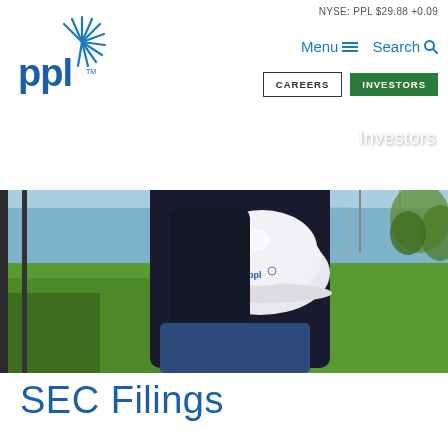NYSE: PPL $29.88 +0.09
[Figure (logo): PPL Corporation logo with blue text 'ppl' and circular sunburst design]
Menu ≡   Search 🔍
CAREERS   INVESTORS
[Figure (photo): A person in dark clothing holding a white PPL hard hat, standing in a grassy field with utility poles in the background]
Investors
SEC Filings